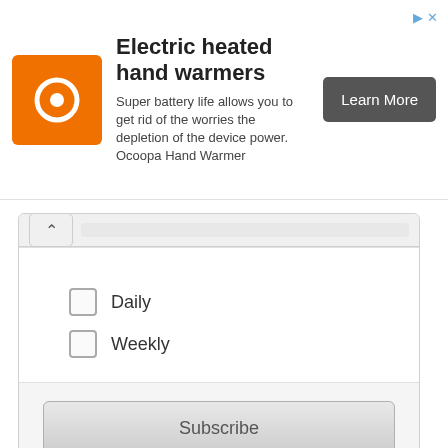[Figure (screenshot): Advertisement banner for Ocoopa electric heated hand warmers with orange logo, product description text, and a dark 'Learn More' button]
Daily
Weekly
Subscribe